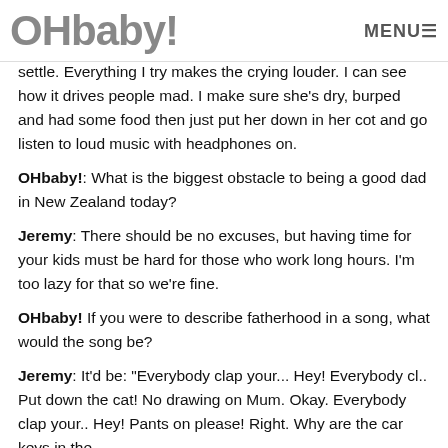OHbaby! MENU☰
settle. Everything I try makes the crying louder. I can see how it drives people mad. I make sure she's dry, burped and had some food then just put her down in her cot and go listen to loud music with headphones on.
OHbaby!: What is the biggest obstacle to being a good dad in New Zealand today?
Jeremy: There should be no excuses, but having time for your kids must be hard for those who work long hours. I'm too lazy for that so we're fine.
OHbaby! If you were to describe fatherhood in a song, what would the song be?
Jeremy: It'd be: "Everybody clap your... Hey! Everybody cl.. Put down the cat! No drawing on Mum. Okay. Everybody clap your.. Hey! Pants on please! Right. Why are the car keys in the